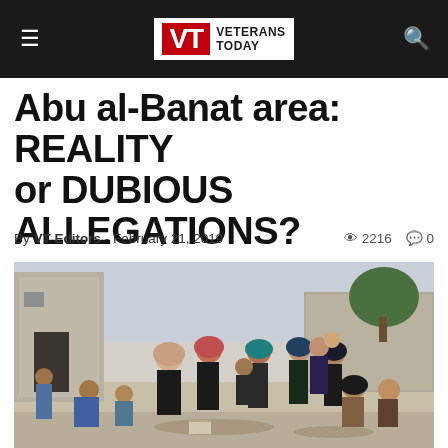Veterans Today
Abu al-Banat area: REALITY or DUBIOUS ALLEGATIONS?
By VT Editors - February 21, 2019  2216  0
[Figure (photo): Group of people, including women in hijabs and children, gathered outside a concrete block building in what appears to be a Middle Eastern setting. Some people are seated on the ground, others standing.]